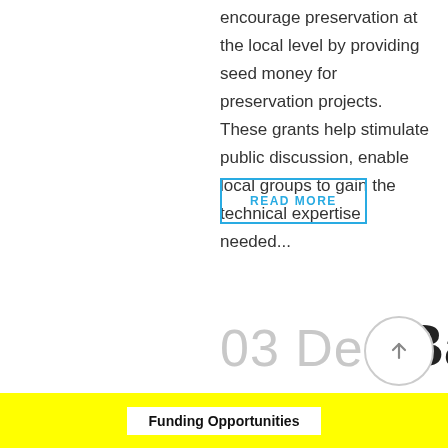encourage preservation at the local level by providing seed money for preservation projects. These grants help stimulate public discussion, enable local groups to gain the technical expertise needed...
READ MORE
03 Dec Bank
Funding Opportunities